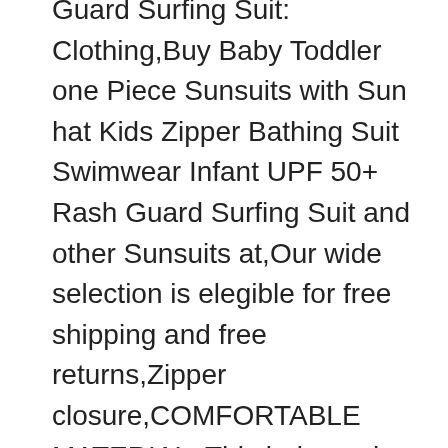Guard Surfing Suit: Clothing,Buy Baby Toddler one Piece Sunsuits with Sun hat Kids Zipper Bathing Suit Swimwear Infant UPF 50+ Rash Guard Surfing Suit and other Sunsuits at,Our wide selection is elegible for free shipping and free returns,Zipper closure,COMFORTABLE MATERIAL: This baby rash guard is made of high quality,soft fabric,FREE SUN CAP: Free sun cap providing more protection from the harmful ultraviolet radiation and no sunburn while at the beach on the river,UPF 50+ SUN PROTECTION: This baby swimwear UPF 50+ sun protection blocks 97,5% of harmful UV radiation to keep your cutie safe in the sun,HUMANIZATION DESIGN: This one-piece baby bathing suit has a front / back zip for convenience putting on and taking off,Zipper flap and garage protect your baby's delicate skin,BODY AND BOTTOM